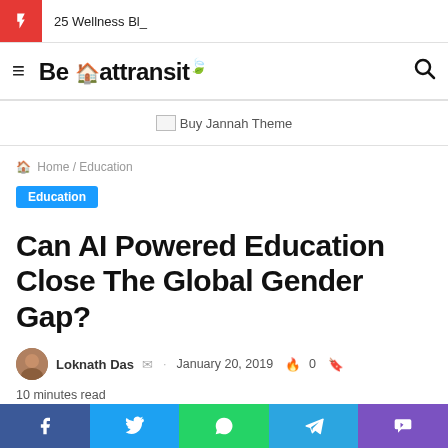25 Wellness Bl_
Be 🏠 attransit 🍃
[Figure (other): Buy Jannah Theme advertisement banner]
🏠 Home / Education
Education
Can AI Powered Education Close The Global Gender Gap?
Loknath Das · January 20, 2019 🔥 0 📖 10 minutes read